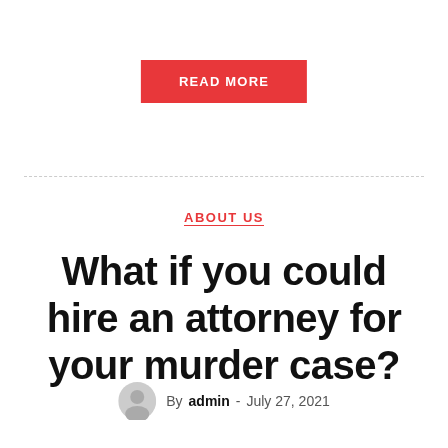[Figure (other): Red 'READ MORE' button centered at top of page]
ABOUT US
What if you could hire an attorney for your murder case?
By admin - July 27, 2021